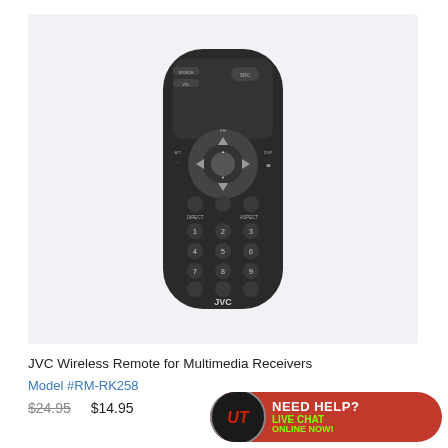[Figure (photo): JVC wireless remote control (model RM-RK258) shown on a light grey background. The remote is black with rounded edges and has multiple buttons including directional pad, number pad 1-9, DIRECT, ASPECT buttons, and JVC branding at the bottom.]
JVC Wireless Remote for Multimedia Receivers
Model #RM-RK258
$24.95  $14.95
[Figure (logo): Uncle Teds (UT) logo circle with red background and white UT initials, followed by red banner reading NEED HELP? with green text LIVE CHAT ONLINE NOW!]